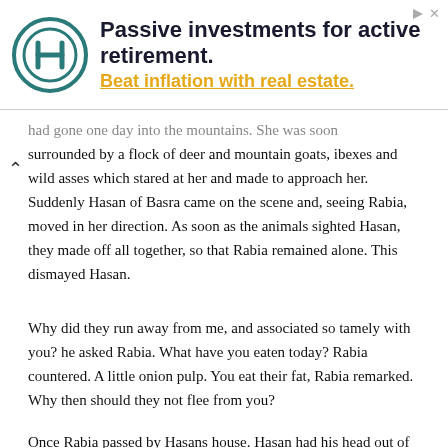[Figure (other): Advertisement banner: Passive investments for active retirement. Beat inflation with real estate. Features a circular logo with letter H.]
had gone one day into the mountains. She was soon surrounded by a flock of deer and mountain goats, ibexes and wild asses which stared at her and made to approach her. Suddenly Hasan of Basra came on the scene and, seeing Rabia, moved in her direction. As soon as the animals sighted Hasan, they made off all together, so that Rabia remained alone. This dismayed Hasan.
Why did they run away from me, and associated so tamely with you? he asked Rabia. What have you eaten today? Rabia countered. A little onion pulp. You eat their fat, Rabia remarked. Why then should they not flee from you?
Once Rabia passed by Hasans house. Hasan had his head out of the window and was weeping, and his tears fell on Rabias dress. Looking up, she thought at first that it was rain; then, realizing that it was his tears, she turned to him and his words of love.